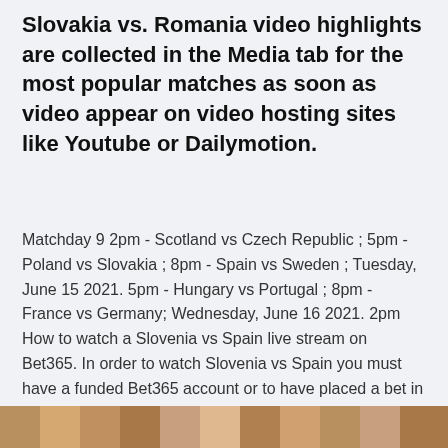Slovakia vs. Romania video highlights are collected in the Media tab for the most popular matches as soon as video appear on video hosting sites like Youtube or Dailymotion.
Matchday 9 2pm - Scotland vs Czech Republic ; 5pm - Poland vs Slovakia ; 8pm - Spain vs Sweden ; Tuesday, June 15 2021. 5pm - Hungary vs Portugal ; 8pm - France vs Germany; Wednesday, June 16 2021. 2pm How to watch a Slovenia vs Spain live stream on Bet365. In order to watch Slovenia vs Spain you must have a funded Bet365 account or to have placed a bet in the last 24 hours.
[Figure (photo): Partial image strip visible at the bottom of the page showing what appears to be a sports-related photograph, mostly cropped out.]